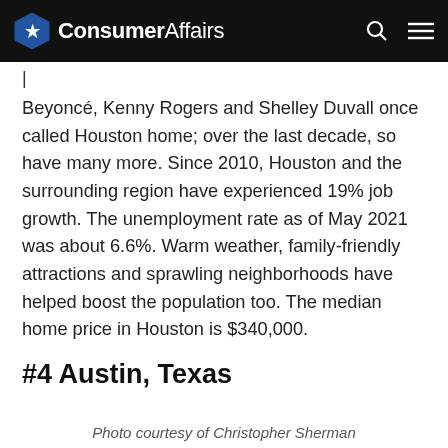ConsumerAffairs
Beyoncé, Kenny Rogers and Shelley Duvall once called Houston home; over the last decade, so have many more. Since 2010, Houston and the surrounding region have experienced 19% job growth. The unemployment rate as of May 2021 was about 6.6%. Warm weather, family-friendly attractions and sprawling neighborhoods have helped boost the population too. The median home price in Houston is $340,000.
#4 Austin, Texas
Photo courtesy of Christopher Sherman